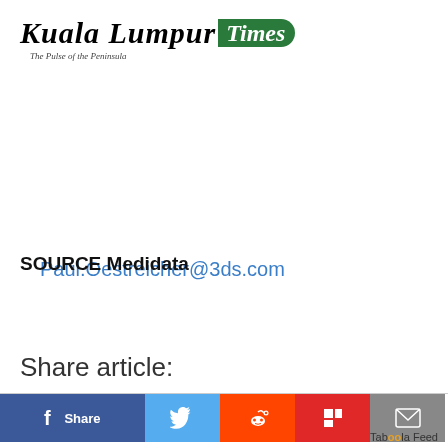Kuala Lumpur Times — The Pulse of the Peninsula
Paul.Oestreicher@3ds.com
SOURCE Medidata
Share article:
[Figure (other): Social share buttons: Facebook Share, Twitter, Reddit, Flipboard, Email]
Taboola Feed